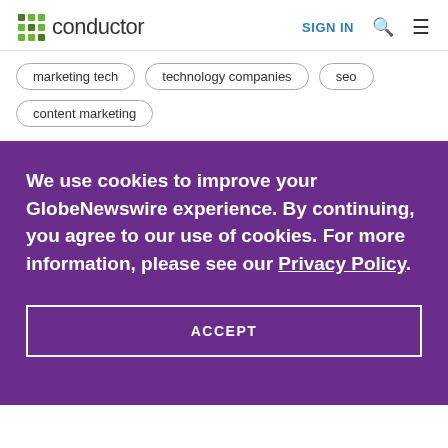conductor | SIGN IN
marketing tech
technology companies
seo
content marketing
We use cookies to improve your GlobeNewswire experience. By continuing, you agree to our use of cookies. For more information, please see our Privacy Policy.
ACCEPT